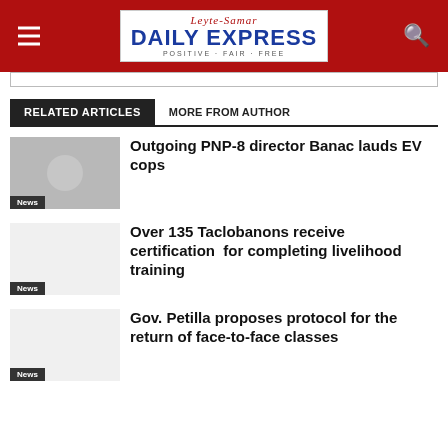Leyte-Samar Daily Express — POSITIVE · FAIR · FREE
RELATED ARTICLES  MORE FROM AUTHOR
Outgoing PNP-8 director Banac lauds EV cops
News
Over 135 Taclobanons receive certification  for completing livelihood training
News
Gov. Petilla proposes protocol for the return of face-to-face classes
News